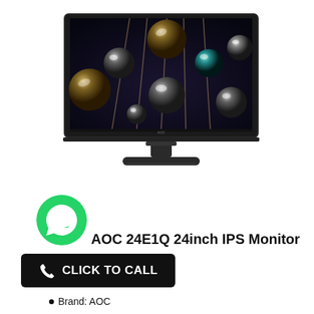[Figure (photo): AOC 24E1Q 24-inch IPS Monitor product photo showing the monitor from the front with a decorative wallpaper of reflective spheres on a dark background, with a slim black bezel and stand]
[Figure (logo): WhatsApp green circle icon with white phone handset]
AOC 24E1Q 24inch IPS Monitor
[Figure (infographic): Black rounded rectangle button with white phone icon and text CLICK TO CALL]
Brand: AOC